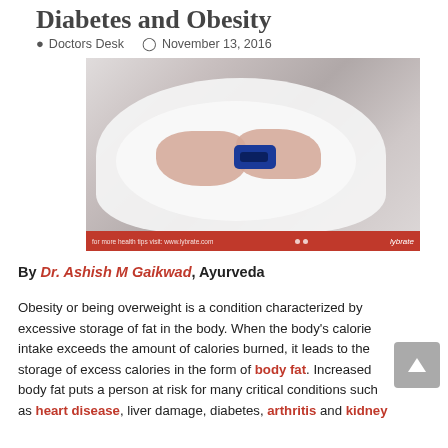Diabetes and Obesity
Doctors Desk   November 13, 2016
[Figure (photo): A person with obesity wearing a white t-shirt using a glucometer to check blood sugar, seated. Image has a red banner at the bottom with 'lybrate' branding.]
By Dr. Ashish M Gaikwad, Ayurveda
Obesity or being overweight is a condition characterized by excessive storage of fat in the body. When the body's calorie intake exceeds the amount of calories burned, it leads to the storage of excess calories in the form of body fat. Increased body fat puts a person at risk for many critical conditions such as heart disease, liver damage, diabetes, arthritis and kidney